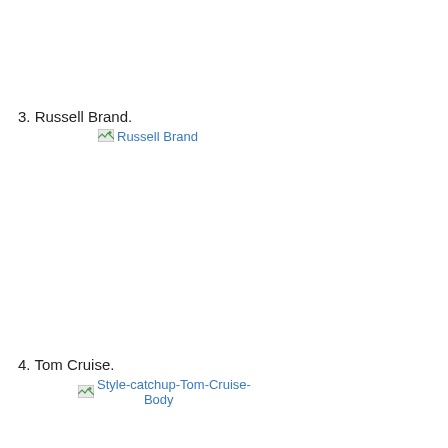3. Russell Brand.
[Figure (photo): Broken image placeholder with alt text 'Russell Brand']
4. Tom Cruise.
[Figure (photo): Broken image placeholder with alt text 'Style-catchup-Tom-Cruise-Body']